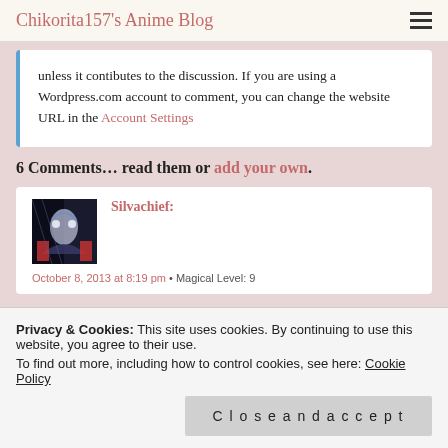Chikorita157's Anime Blog
unless it contibutes to the discussion. If you are using a Wordpress.com account to comment, you can change the website URL in the Account Settings
6 Comments… read them or add your own.
Silvachief:
October 8, 2013 at 8:19 pm • Magical Level: 9
Privacy & Cookies: This site uses cookies. By continuing to use this website, you agree to their use.
To find out more, including how to control cookies, see here: Cookie Policy